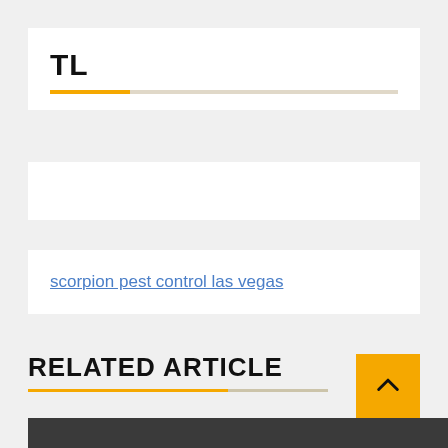TL
scorpion pest control las vegas
link insertions
RELATED ARTICLE